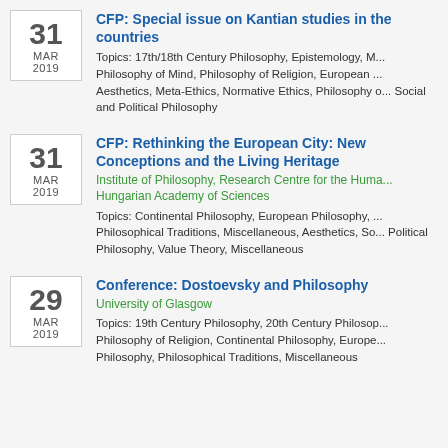CFP: Special issue on Kantian studies in the countries
Topics: 17th/18th Century Philosophy, Epistemology, M... Philosophy of Mind, Philosophy of Religion, European ... Aesthetics, Meta-Ethics, Normative Ethics, Philosophy o... Social and Political Philosophy
CFP: Rethinking the European City: New Conceptions and the Living Heritage
Institute of Philosophy, Research Centre for the Huma... Hungarian Academy of Sciences
Topics: Continental Philosophy, European Philosophy, ... Philosophical Traditions, Miscellaneous, Aesthetics, So... Political Philosophy, Value Theory, Miscellaneous
Conference: Dostoevsky and Philosophy
University of Glasgow
Topics: 19th Century Philosophy, 20th Century Philosop... Philosophy of Religion, Continental Philosophy, Europe... Philosophy, Philosophical Traditions, Miscellaneous